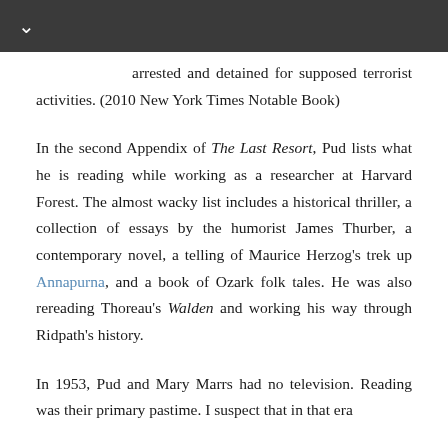∨
arrested and detained for supposed terrorist activities. (2010 New York Times Notable Book)
In the second Appendix of The Last Resort, Pud lists what he is reading while working as a researcher at Harvard Forest. The almost wacky list includes a historical thriller, a collection of essays by the humorist James Thurber, a contemporary novel, a telling of Maurice Herzog's trek up Annapurna, and a book of Ozark folk tales. He was also rereading Thoreau's Walden and working his way through Ridpath's history.
In 1953, Pud and Mary Marrs had no television. Reading was their primary pastime. I suspect that in that era